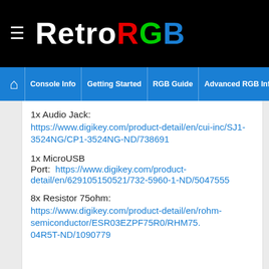RetroRGB — Console Info | Getting Started | RGB Guide | Advanced RGB Info | Ab
1x Audio Jack: https://www.digikey.com/product-detail/en/cui-inc/SJ1-3524NG/CP1-3524NG-ND/738691
1x MicroUSB Port: https://www.digikey.com/product-detail/en/629105150521/732-5960-1-ND/5047555
8x Resistor 75ohm: https://www.digikey.com/product-detail/en/rohm-semiconductor/ESR03EZPF75R0/RHM75.